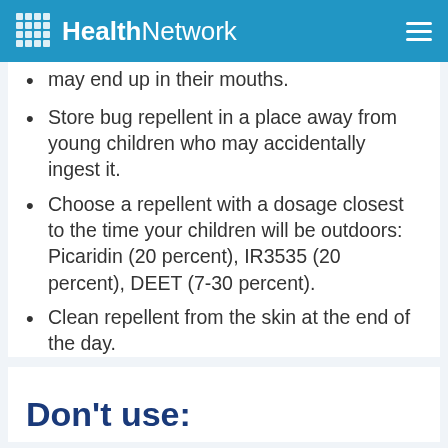HealthNetwork
may end up in their mouths.
Store bug repellent in a place away from young children who may accidentally ingest it.
Choose a repellent with a dosage closest to the time your children will be outdoors: Picaridin (20 percent), IR3535 (20 percent), DEET (7-30 percent).
Clean repellent from the skin at the end of the day.
Don't use: